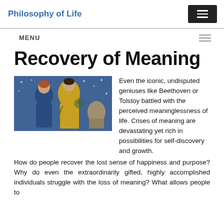Philosophy of Life
MENU
Recovery of Meaning
[Figure (illustration): A colorful painting (Gustav Klimt style) showing figures in blue and yellow tones, reminiscent of a musical or allegorical scene.]
Even the iconic, undisputed geniuses like Beethoven or Tolstoy battled with the perceived meaninglessness of life. Crises of meaning are devastating yet rich in possibilities for self-discovery and growth. How do people recover the lost sense of happiness and purpose? Why do even the extraordinarily gifted, highly accomplished individuals struggle with the loss of meaning? What allows people to